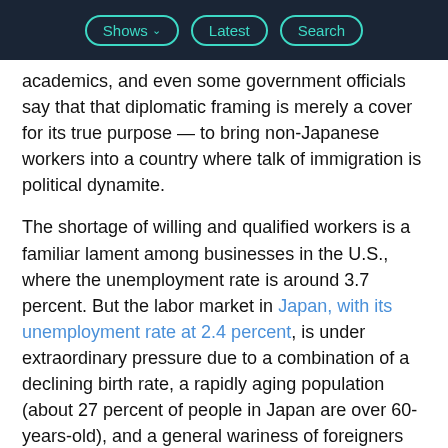Shows | Latest | Search
academics, and even some government officials say that that diplomatic framing is merely a cover for its true purpose — to bring non-Japanese workers into a country where talk of immigration is political dynamite.
The shortage of willing and qualified workers is a familiar lament among businesses in the U.S., where the unemployment rate is around 3.7 percent. But the labor market in Japan, with its unemployment rate at 2.4 percent, is under extraordinary pressure due to a combination of a declining birth rate, a rapidly aging population (about 27 percent of people in Japan are over 60-years-old), and a general wariness of foreigners and immigrants. For every 100 job seekers, there are 160 job openings (in the U.S. there are around 110 job openings...